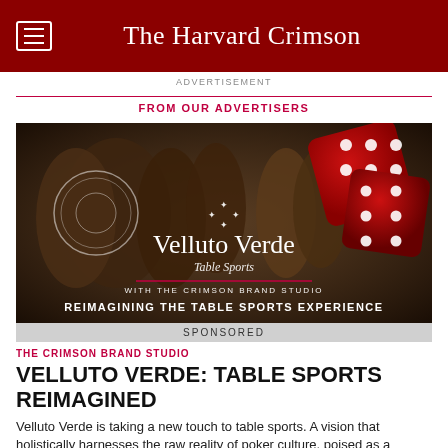The Harvard Crimson
ADVERTISEMENT
FROM OUR ADVERTISERS
[Figure (photo): Advertisement image for Velluto Verde Table Sports with The Crimson Brand Studio, showing vintage casino scene with people in formal attire, large red dice, a circular emblem, the Velluto Verde logo, and text 'REIMAGINING THE TABLE SPORTS EXPERIENCE']
SPONSORED
THE CRIMSON BRAND STUDIO
VELLUTO VERDE: TABLE SPORTS REIMAGINED
Velluto Verde is taking a new touch to table sports. A vision that holistically harnesses the raw reality of poker culture, poised as a powerful hand that you simply cannot fold.